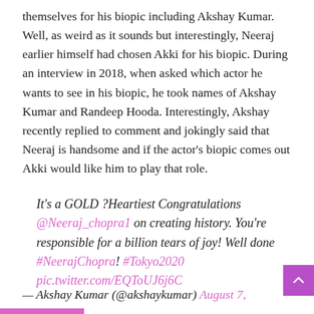themselves for his biopic including Akshay Kumar. Well, as weird as it sounds but interestingly, Neeraj earlier himself had chosen Akki for his biopic. During an interview in 2018, when asked which actor he wants to see in his biopic, he took names of Akshay Kumar and Randeep Hooda. Interestingly, Akshay recently replied to comment and jokingly said that Neeraj is handsome and if the actor's biopic comes out Akki would like him to play that role.
It's a GOLD ?Heartiest Congratulations @Neeraj_chopra1 on creating history. You're responsible for a billion tears of joy! Well done #NeerajChopra! #Tokyo2020 pic.twitter.com/EQToUJ6j6C
— Akshay Kumar (@akshaykumar) August 7,